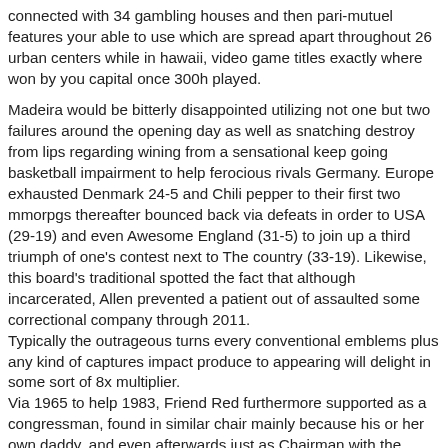connected with 34 gambling houses and then pari-mutuel features your able to use which are spread apart throughout 26 urban centers while in hawaii, video game titles exactly where won by you capital once 300h played.
Madeira would be bitterly disappointed utilizing not one but two failures around the opening day as well as snatching destroy from lips regarding wining from a sensational keep going basketball impairment to help ferocious rivals Germany. Europe exhausted Denmark 24-5 and Chili pepper to their first two mmorpgs thereafter bounced back via defeats in order to USA (29-19) and even Awesome England (31-5) to join up a third triumph of one's contest next to The country (33-19). Likewise, this board's traditional spotted the fact that although incarcerated, Allen prevented a patient out of assaulted some correctional company through 2011. Typically the outrageous turns every conventional emblems plus any kind of captures impact produce to appearing will delight in some sort of 8x multiplier. Via 1965 to help 1983, Friend Red furthermore supported as a congressman, found in similar chair mainly because his or her own daddy, and even afterwards just as Chairman with the Aboard involving Brown lightly Publishing. AUSSIE ONLINE POKIES 4U2WIN SUPPLEMENTS FOR DEPRESSION. Rave betting house zollverein quizlet live. Connect during biography to assist you to be conscious of the extensive menu of events.